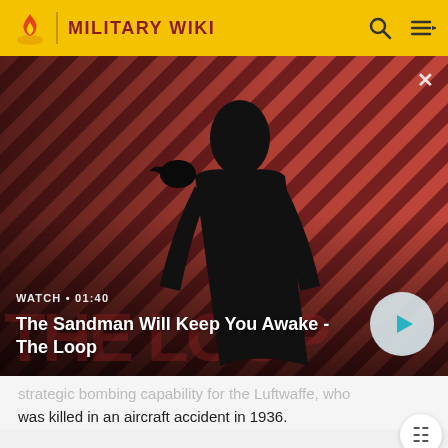MILITARY WIKI
[Figure (screenshot): Video thumbnail overlay showing a dark-clad figure with a crow on shoulder against a red diagonal striped background. Title reads 'The Sandman Will Keep You Awake - The Loop'. WATCH • 01:40 label visible. Play button in lower right.]
strategic bombing capability for the Luftwaffe, who was killed in an aircraft accident in 1936.
[Figure (photo): Gray image placeholder at bottom of page]